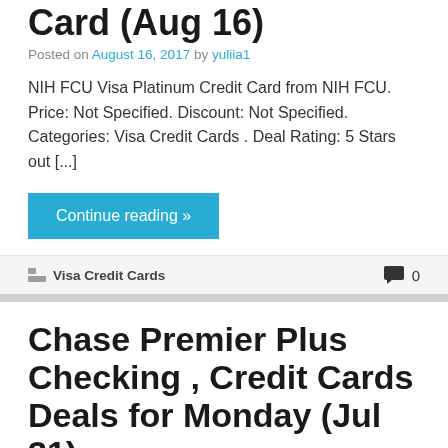Card (Aug 16)
Posted on August 16, 2017 by yuliia1
NIH FCU Visa Platinum Credit Card from NIH FCU. Price: Not Specified. Discount: Not Specified. Categories: Visa Credit Cards . Deal Rating: 5 Stars out [...]
Continue reading »
Visa Credit Cards
0
Chase Premier Plus Checking , Credit Cards Deals for Monday (Jul 31)
Posted on July 31, 2017 by yuliia1